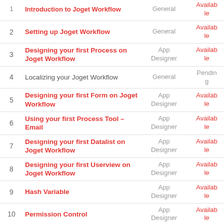| # | Title | Category | Status |
| --- | --- | --- | --- |
| 1 | Introduction to Joget Workflow | General | Available |
| 2 | Setting up Joget Workflow | General | Available |
| 3 | Designing your first Process on Joget Workflow | App Designer | Available |
| 4 | Localizing your Joget Workflow | General | Pending |
| 5 | Designing your first Form on Joget Workflow | App Designer | Available |
| 6 | Using your first Process Tool – Email | App Designer | Available |
| 7 | Designing your first Datalist on Joget Workflow | App Designer | Available |
| 8 | Designing your first Userview on Joget Workflow | App Designer | Available |
| 9 | Hash Variable | App Designer | Available |
| 10 | Permission Control | App Designer | Available |